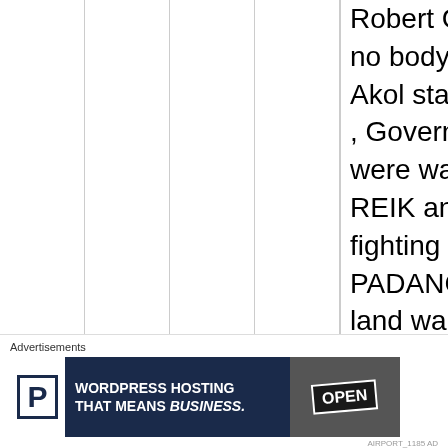Robert Guang Nyikeer, up to now no body arrested him,, since Lam Akol start his SPLA>DC campaign , Government was silence, and we were waiting for the right time, DR: REIK and PRESIDENT KIIR are fighting political war ,and DINKA PADANG and CHOLLO fighting land war, all of us are Kiir
Advertisements
[Figure (other): WordPress Hosting advertisement banner with logo P in white box, text 'WORDPRESS HOSTING THAT MEANS BUSINESS.' and image of an OPEN sign on right side]